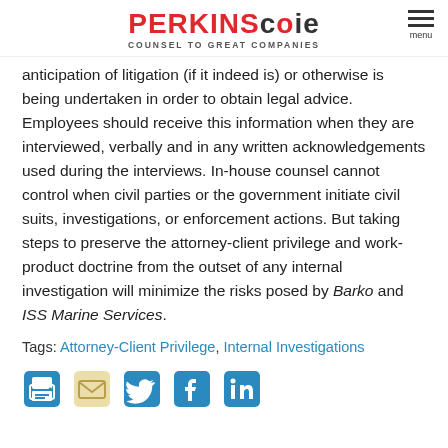PERKINS COIE | COUNSEL TO GREAT COMPANIES | menu
anticipation of litigation (if it indeed is) or otherwise is being undertaken in order to obtain legal advice. Employees should receive this information when they are interviewed, verbally and in any written acknowledgements used during the interviews. In-house counsel cannot control when civil parties or the government initiate civil suits, investigations, or enforcement actions. But taking steps to preserve the attorney-client privilege and work-product doctrine from the outset of any internal investigation will minimize the risks posed by Barko and ISS Marine Services.
Tags: Attorney-Client Privilege, Internal Investigations
[Figure (infographic): Social sharing icons: print, email, Twitter, Facebook, LinkedIn]